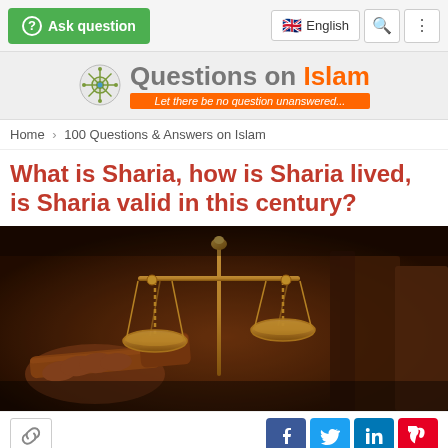Ask question | English | Search | Menu
[Figure (logo): Questions on Islam website logo with decorative snowflake icon, orange and gray text, tagline: Let there be no question unanswered...]
Home > 100 Questions & Answers on Islam
What is Sharia, how is Sharia lived, is Sharia valid in this century?
[Figure (photo): Close-up photo of a golden balance scale (justice/law) with a wooden judge's gavel in the background, dark brown warm tones]
By using this site, you agree to our Cookie Policy.